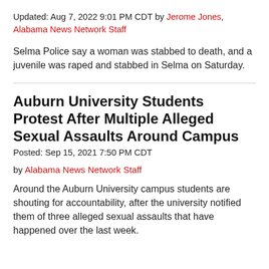Updated: Aug 7, 2022 9:01 PM CDT by Jerome Jones, Alabama News Network Staff
Selma Police say a woman was stabbed to death, and a juvenile was raped and stabbed in Selma on Saturday.
Auburn University Students Protest After Multiple Alleged Sexual Assaults Around Campus
Posted: Sep 15, 2021 7:50 PM CDT
by Alabama News Network Staff
Around the Auburn University campus students are shouting for accountability, after the university notified them of three alleged sexual assaults that have happened over the last week.